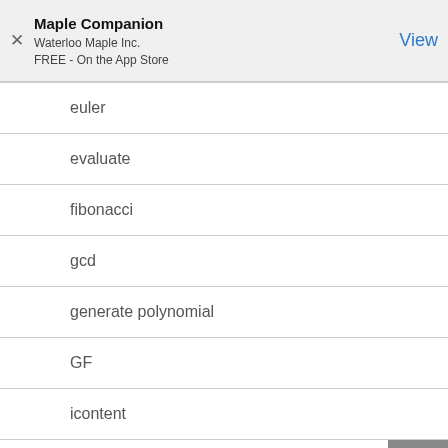Maple Companion
Waterloo Maple Inc.
FREE - On the App Store
euler
evaluate
fibonacci
gcd
generate polynomial
GF
icontent
Interp
Interpolation